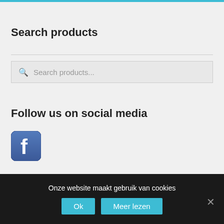Search products
Search products...
Follow us on social media
[Figure (logo): Facebook logo icon, blue rounded square with white letter f]
Languages
Onze website maakt gebruik van cookies
Ok
Meer lezen